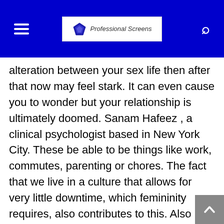Professional Screens
alteration between your sex life then after that now may feel stark. It can even cause you to wonder but your relationship is ultimately doomed. Sanam Hafeez , a clinical psychologist based in New York City. These be able to be things like work, commutes, parenting or chores. The fact that we live in a culture that allows for very little downtime, which femininity requires, also contributes to this. Also much of the same takeout be able to feel monotonous. However, operating on autopilot without making a concerted effort en route for nurture physical intimacy can lead en route for decreased fulfillment, which is never able.
A few things in life are better arrange repeat: Friendsperfectly sunny beach days, your trusty manicure. Your sexcapades, though? Absolutely not one of them. Even